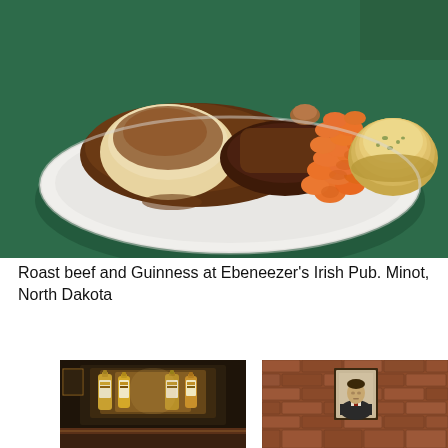[Figure (photo): Close-up photo of a plate of roast beef with brown gravy, steamed sliced carrots, and a garlic bread roll, served on a white plate on a green table at Ebeneezer's Irish Pub in Minot, North Dakota.]
Roast beef and Guinness at Ebeneezer's Irish Pub. Minot, North Dakota
[Figure (photo): Interior of a bar showing bottles of liquor lit up on shelves behind a wooden bar counter.]
[Figure (photo): Brick wall interior of a pub with a framed portrait photograph hanging on the wall.]